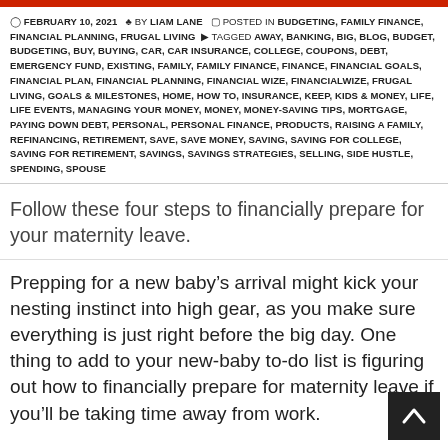FEBRUARY 10, 2021  BY LIAM LANE  POSTED IN BUDGETING, FAMILY FINANCE, FINANCIAL PLANNING, FRUGAL LIVING  TAGGED AWAY, BANKING, BIG, BLOG, BUDGET, BUDGETING, BUY, BUYING, CAR, CAR INSURANCE, COLLEGE, COUPONS, DEBT, EMERGENCY FUND, EXISTING, FAMILY, FAMILY FINANCE, FINANCE, FINANCIAL GOALS, FINANCIAL PLAN, FINANCIAL PLANNING, FINANCIAL WIZE, FINANCIALWIZE, FRUGAL LIVING, GOALS & MILESTONES, HOME, HOW TO, INSURANCE, KEEP, KIDS & MONEY, LIFE, LIFE EVENTS, MANAGING YOUR MONEY, MONEY, MONEY-SAVING TIPS, MORTGAGE, PAYING DOWN DEBT, PERSONAL, PERSONAL FINANCE, PRODUCTS, RAISING A FAMILY, REFINANCING, RETIREMENT, SAVE, SAVE MONEY, SAVING, SAVING FOR COLLEGE, SAVING FOR RETIREMENT, SAVINGS, SAVINGS STRATEGIES, SELLING, SIDE HUSTLE, SPENDING, SPOUSE
Follow these four steps to financially prepare for your maternity leave.
Prepping for a new baby’s arrival might kick your nesting instinct into high gear, as you make sure everything is just right before the big day. One thing to add to your new-baby to-do list is figuring out how to financially prepare for maternity leave if you’ll be taking time away from work.